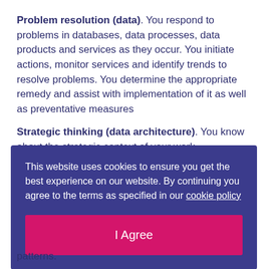Problem resolution (data). You respond to problems in databases, data processes, data products and services as they occur. You initiate actions, monitor services and identify trends to resolve problems. You determine the appropriate remedy and assist with implementation of it as well as preventative measures
Strategic thinking (data architecture). You know about the strategic context of your work
This website uses cookies to ensure you get the best experience on our website. By continuing you agree to the terms as specified in our cookie policy
I Agree
patterns.